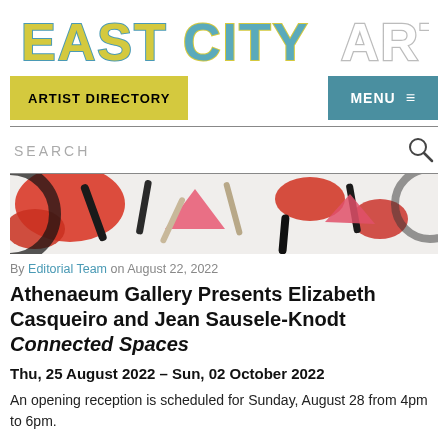[Figure (logo): EastCityArt logo with stylized lettering: EAST in yellow with teal outline, CITY in teal with yellow outline, ART in white with gray outline]
ARTIST DIRECTORY
MENU ≡
SEARCH
[Figure (photo): Partial view of colorful abstract sculpture or artwork with red, pink, black, and beige geometric forms on white background]
By Editorial Team on August 22, 2022
Athenaeum Gallery Presents Elizabeth Casqueiro and Jean Sausele-Knodt Connected Spaces
Thu, 25 August 2022 – Sun, 02 October 2022
An opening reception is scheduled for Sunday, August 28 from 4pm to 6pm.